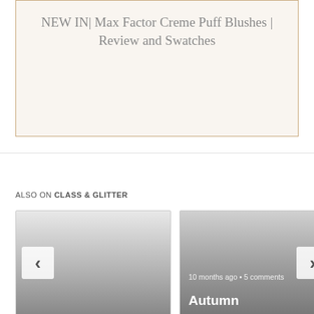NEW IN| Max Factor Creme Puff Blushes | Review and Swatches
ALSO ON CLASS & GLITTER
[Figure (screenshot): Left thumbnail card with left navigation arrow chevron button]
[Figure (screenshot): Right thumbnail card showing '10 months ago • 5 comments' and 'Autumn' heading, with right navigation arrow chevron button]